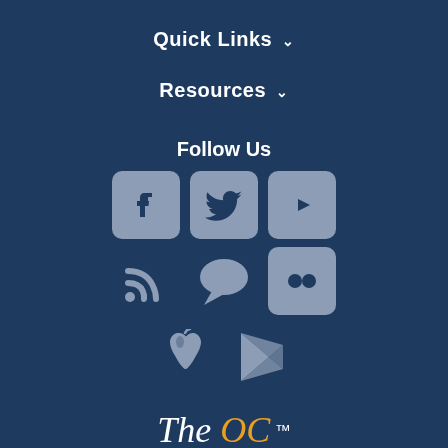Quick Links ˅
Resources ˅
Follow Us
[Figure (infographic): Social media icons in a 3x2 grid plus 2 app store icons: Facebook, Twitter, YouTube (with rounded-square boxes), RSS, Chat/Podcast, Flickr (with rounded-square box), Apple, Google Play (bare icons)]
The OC ™